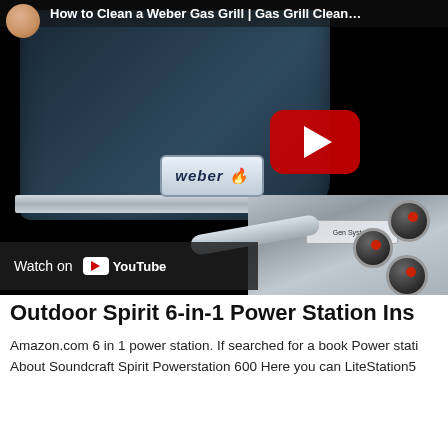[Figure (screenshot): YouTube video thumbnail showing a Weber gas grill close-up with the Weber logo badge visible, stainless steel handles and control knobs, with a red YouTube play button overlay. The video title reads 'How to Clean a Weber Gas Grill | Gas Grill Cleaning'. A small avatar photo appears in the top-left corner. A 'Watch on YouTube' bar appears at the bottom-left of the video area.]
Outdoor Spirit 6-in-1 Power Station Ins
Amazon.com 6 in 1 power station. If searched for a book Power stati About Soundcraft Spirit Powerstation 600 Here you can LiteStation5